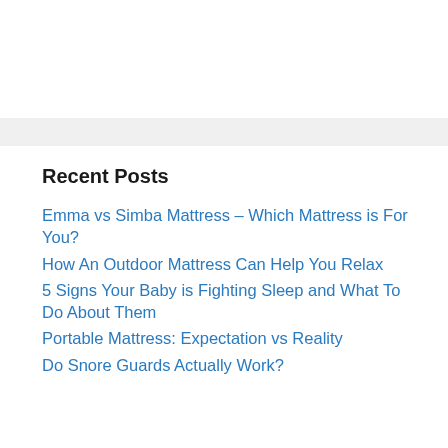Recent Posts
Emma vs Simba Mattress – Which Mattress is For You?
How An Outdoor Mattress Can Help You Relax
5 Signs Your Baby is Fighting Sleep and What To Do About Them
Portable Mattress: Expectation vs Reality
Do Snore Guards Actually Work?